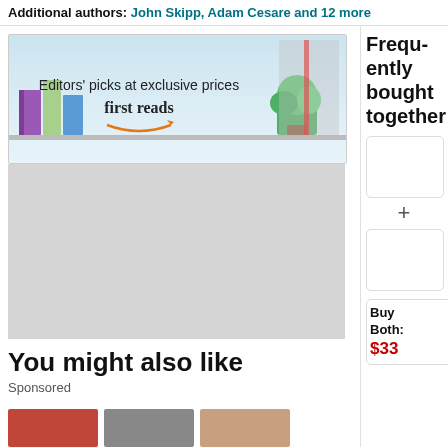Additional authors: John Skipp, Adam Cesare and 12 more
[Figure (illustration): Amazon First Reads banner — 'Editors' picks at exclusive prices / first reads' with books and plant decoration on a light blue/green background]
[Figure (illustration): Gray placeholder ad rectangle]
Frequently bought together
[Figure (illustration): Product image box with plus sign and second product image box]
Buy Both: $33
You might also like
Sponsored
[Figure (illustration): Three small product thumbnail images at bottom of page]